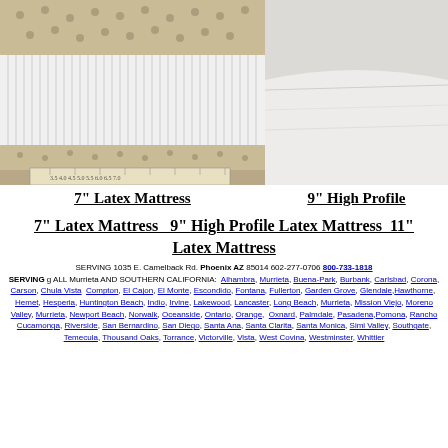[Figure (photo): Close-up cross-section of a latex mattress showing foam layers and texture, with a ruler at the bottom edge.]
[Figure (photo): Close-up of white mattress fabric/cover surface, partially visible on the right side.]
7" Latex Mattress
9" High Profile
7" Latex Mattress   9" High Profile Latex Mattress   11" Latex Mattress
SERVING 1035 E. Camelback Rd. Phoenix AZ 85014 602-277-0706 800-733-1818 SERVING g ALL Murrieta AND SOUTHERN CALIFORNIA: Alhambra, Murrieta, Buena-Park, Burbank, Carlsbad, Corona, Carson, Chula Vista, Compton, El Cajon, El Monte, Escondido, Fontana, Fullerton, Garden Grove, Glendale, Hawthorne, Hemet, Hesperia, Huntington Beach, Indio, Irvine, Lakewood, Lancaster, Long Beach, Murrieta, Mission Viejo, Moreno Valley, Murrieta, Newport Beach, Norwalk, Oceanside, Ontario, Orange, Oxnard, Palmdale, Pasadena, Pomona, Rancho Cucamonga, Riverside, San Bernardino, San Diego, Santa Ana, Santa Clarita, Santa Monica, Simi Valley, Southgate, Temecula, Thousand Oaks, Torrance, Victorville, Vista, West Covina, Westminster, Whittier